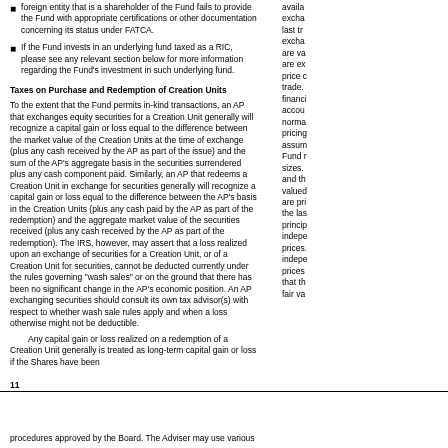foreign entity that is a shareholder of the Fund fails to provide the Fund with appropriate certifications or other documentation concerning its status under FATCA.
If the Fund invests in an underlying fund taxed as a RIC, please see any relevant section below for more information regarding the Fund's investment in such underlying fund.
Taxes on Purchase and Redemption of Creation Units
To the extent that the Fund permits in-kind transactions, an AP that exchanges equity securities for a Creation Unit generally will recognize a capital gain or loss equal to the difference between the market value of the Creation Units at the time of exchange (plus any cash received by the AP as part of the issue) and the sum of the AP's aggregate basis in the securities surrendered plus any cash component paid. Similarly, an AP that redeems a Creation Unit in exchange for securities generally will recognize a capital gain or loss equal to the difference between the AP's basis in the Creation Units (plus any cash paid by the AP as part of the redemption) and the aggregate market value of the securities received (plus any cash received by the AP as part of the redemption). The IRS, however, may assert that a loss realized upon an exchange of securities for a Creation Unit, or of a Creation Unit for securities, cannot be deducted currently under the rules governing "wash sales" or on the ground that there has been no significant change in the AP's economic position. An AP exchanging securities should consult its own tax advisor(s) with respect to whether wash sale rules apply and when a loss otherwise might not be deductible.
Any capital gain or loss realized on a redemption of a Creation Unit generally is treated as long-term capital gain or loss if the Shares have been
available exchange last tra excha are va are ex price c trade. financi accou norma pricing assum Fund r sizes. and th valued are pri the las princip indepe prices. indepe prices that th fair va
11
procedures approved by the Board. The Adviser may use various